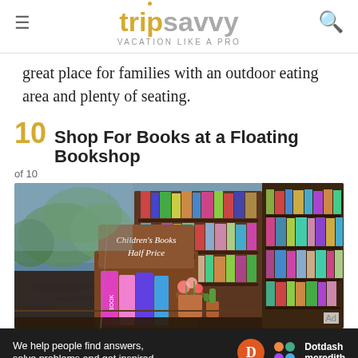tripsavvy VACATION LIKE A PRO
great place for families with an outdoor eating area and plenty of seating.
10 Shop For Books at a Floating Bookshop
of 10
[Figure (photo): Photo of a floating bookshop on a canal, showing shelves of books, a sign reading 'Children's Books Half Price', and colorful books on display outdoors near water.]
We help people find answers, solve problems and get inspired. Dotdash meredith